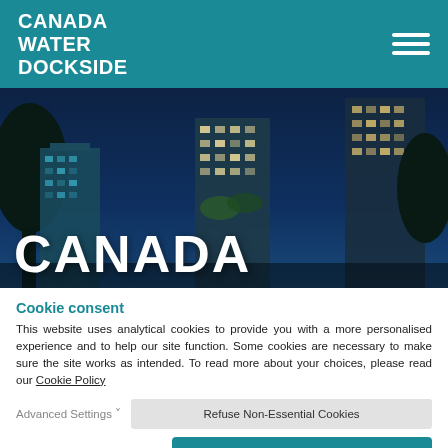CANADA WATER DOCKSIDE
[Figure (photo): Nighttime architectural rendering of modern city buildings with blue sky, Canada Water Dockside development]
CANADA
Cookie consent
This website uses analytical cookies to provide you with a more personalised experience and to help our site function. Some cookies are necessary to make sure the site works as intended. To read more about your choices, please read our Cookie Policy
Advanced Settings ˅
Refuse Non-Essential Cookies
Accept All Cookies